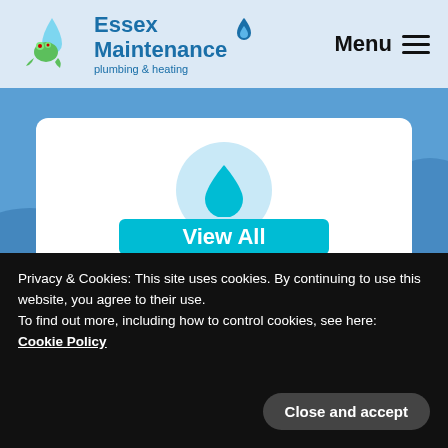[Figure (logo): Essex Maintenance plumbing & heating logo with frog and water drop, blue flame icon]
Menu
[Figure (illustration): Water drop icon on light blue circle background]
Plumbing Services
We guarantee to solve everything from a plumbing
Privacy & Cookies: This site uses cookies. By continuing to use this website, you agree to their use.
To find out more, including how to control cookies, see here:
Cookie Policy
Close and accept
View All